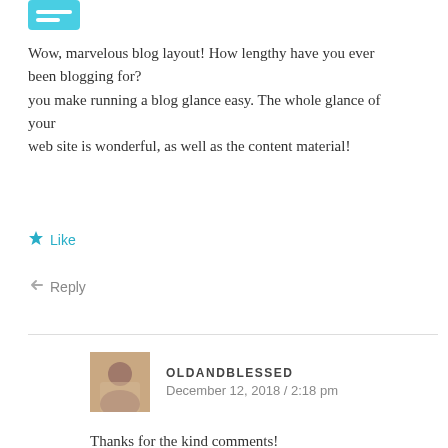[Figure (logo): Small teal/cyan logo or icon in top left corner]
Wow, marvelous blog layout! How lengthy have you ever been blogging for?
you make running a blog glance easy. The whole glance of your
web site is wonderful, as well as the content material!
★ Like
↩ Reply
OLDANDBLESSED
December 12, 2018 / 2:18 pm
Thanks for the kind comments!
★ Like
↩ Reply